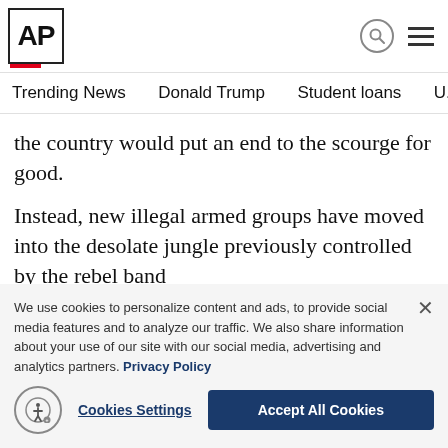AP
Trending News   Donald Trump   Student loans   U.S. Open Tenn
the country would put an end to the scourge for good.
Instead, new illegal armed groups have moved into the desolate jungle previously controlled by the rebel band and taken control of drug trafficking routes. Parts of the peace accord dedi... and providing
READ MORE
We use cookies to personalize content and ads, to provide social media features and to analyze our traffic. We also share information about your use of our site with our social media, advertising and analytics partners. Privacy Policy
Cookies Settings
Accept All Cookies